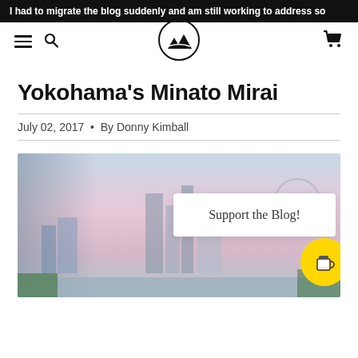I had to migrate the blog suddenly and am still working to address so
[Figure (screenshot): Website navigation bar with hamburger menu, search icon, circular mountain/landscape logo, and shopping cart icon]
Yokohama's Minato Mirai
July 02, 2017 · By Donny Kimball
[Figure (photo): Cityscape photo of Yokohama's Minato Mirai district with sky gradient background, overlaid with a 'Support the Blog!' white card popup and a yellow circular coffee cup button]